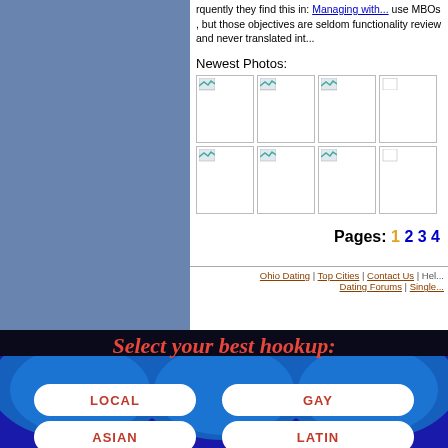frequently they find this in: use MBOs , but those objectives are seldom functionality review and never translated int...
[Figure (screenshot): Grid of 9 broken/placeholder image thumbnails under 'Newest Photos:' label]
Pages: 1 2 3 4
Ohio Dating | Top Cities | Contact Us | Hel... Dating Forums | Single...
[Figure (infographic): Banner with text 'Select your best hookup:' and four buttons: LOCAL, GAY, ASIAN, LATIN on dark blue/black background with wave design]